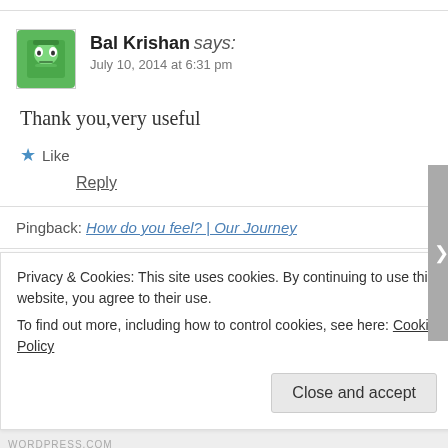Bal Krishan says: July 10, 2014 at 6:31 pm
Thank you,very useful
★ Like
Reply
Pingback: How do you feel? | Our Journey
Pingback: Useful links for CELTA | Sandy Millin
Privacy & Cookies: This site uses cookies. By continuing to use this website, you agree to their use.
To find out more, including how to control cookies, see here: Cookie Policy
Close and accept